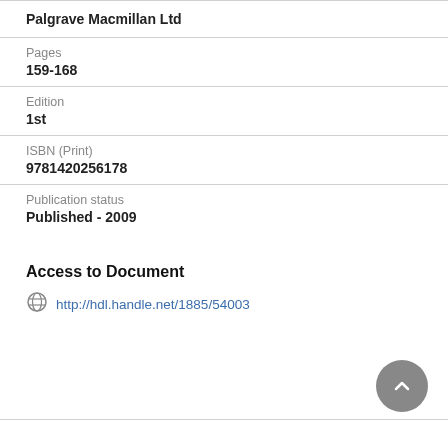Palgrave Macmillan Ltd
Pages
159-168
Edition
1st
ISBN (Print)
9781420256178
Publication status
Published - 2009
Access to Document
http://hdl.handle.net/1885/54003